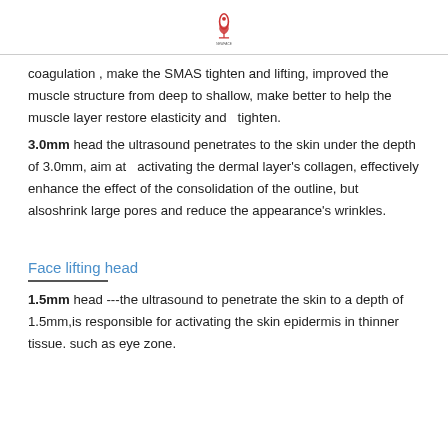[Figure (logo): Company logo with red flame/leaf icon and text below]
coagulation , make the SMAS tighten and lifting, improved the muscle structure from deep to shallow, make better to help the muscle layer restore elasticity and   tighten.
3.0mm head the ultrasound penetrates to the skin under the depth of 3.0mm, aim at  activating the dermal layer's collagen, effectively enhance the effect of the consolidation of the outline, but alsoshrink large pores and reduce the appearance's wrinkles.
Face lifting head
1.5mm head ---the ultrasound to penetrate the skin to a depth of 1.5mm,is responsible for activating the skin epidermis in thinner tissue. such as eye zone.